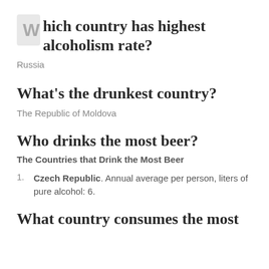Which country has highest alcoholism rate?
Russia
What's the drunkest country?
The Republic of Moldova
Who drinks the most beer?
The Countries that Drink the Most Beer
Czech Republic. Annual average per person, liters of pure alcohol: 6.
What country consumes the most